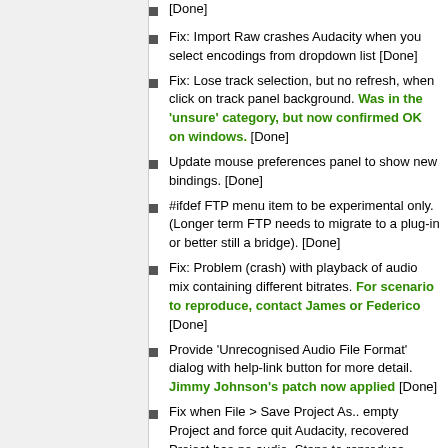[Done]
Fix: Import Raw crashes Audacity when you select encodings from dropdown list [Done]
Fix: Lose track selection, but no refresh, when click on track panel background. Was in the 'unsure' category, but now confirmed OK on windows. [Done]
Update mouse preferences panel to show new bindings. [Done]
#ifdef FTP menu item to be experimental only. (Longer term FTP needs to migrate to a plug-in or better still a bridge). [Done]
Fix: Problem (crash) with playback of audio mix containing different bitrates. For scenario to reproduce, contact James or Federico [Done]
Provide 'Unrecognised Audio File Format' dialog with help-link button for more detail. Jimmy Johnson's patch now applied [Done]
Fix when File > Save Project As.. empty Project and force quit Audacity, recovered Project has no audio. Steps to reproduce